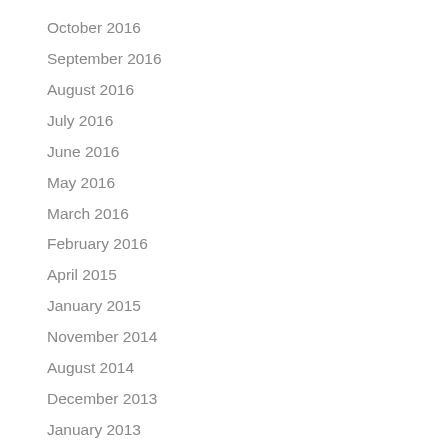October 2016
September 2016
August 2016
July 2016
June 2016
May 2016
March 2016
February 2016
April 2015
January 2015
November 2014
August 2014
December 2013
January 2013
August 2012